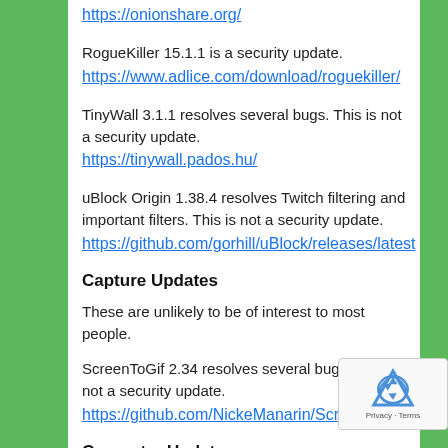https://onionshare.org/
RogueKiller 15.1.1 is a security update.
https://www.adlice.com/download/roguekiller/
TinyWall 3.1.1 resolves several bugs. This is not a security update.
https://tinywall.pados.hu/
uBlock Origin 1.38.4 resolves Twitch filtering and important filters. This is not a security update.
https://github.com/gorhill/uBlock/releases/latest
Capture Updates
These are unlikely to be of interest to most people.
ScreenToGif 2.34 resolves several bugs. This is not a security update.
https://github.com/NickeManarin/ScreenToGif/releases/l
Converter Updates